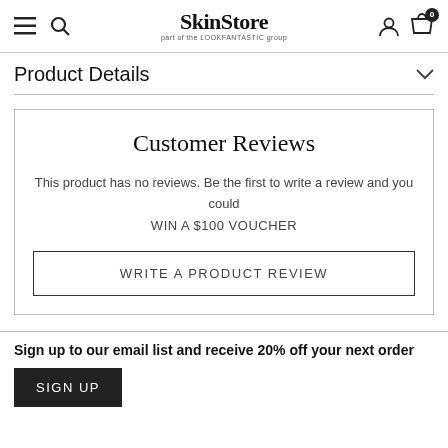SkinStore — part of the LOOKFANTASTIC group
Product Details
Customer Reviews
This product has no reviews. Be the first to write a review and you could WIN A $100 VOUCHER
WRITE A PRODUCT REVIEW
Sign up to our email list and receive 20% off your next order
SIGN UP